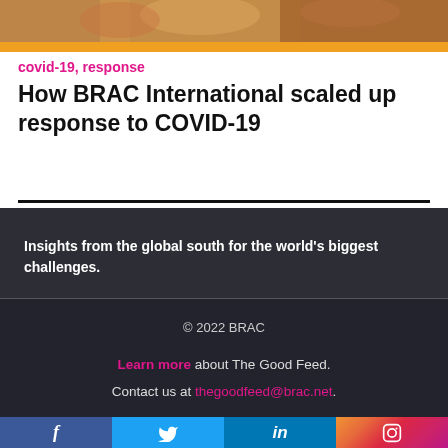[Figure (photo): Partial image of people outdoors, cropped at top of page, with an orange/amber color bar below]
covid-19, response
How BRAC International scaled up response to COVID-19
Insights from the global south for the world's biggest challenges.
© 2022 BRAC
Learn more about The Good Feed. Contact us at thegoodfeed@brac.net.
f  (Facebook)  |  Twitter  |  in (LinkedIn)  |  Instagram